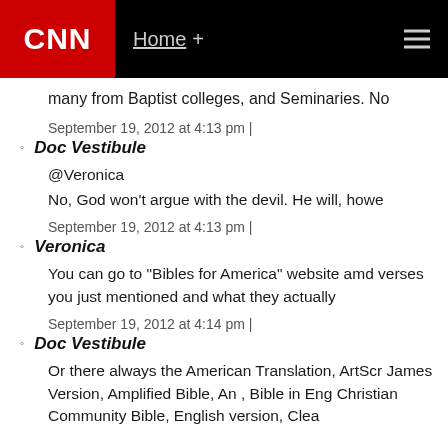CNN Home +
many from Baptist colleges, and Seminaries. No
September 19, 2012 at 4:13 pm |
Doc Vestibule
@Veronica
No, God won't argue with the devil. He will, howe
September 19, 2012 at 4:13 pm |
Veronica
You can go to "Bibles for America" website amd verses you just mentioned and what they actually
September 19, 2012 at 4:14 pm |
Doc Vestibule
Or there always the American Translation, ArtScr James Version, Amplified Bible, An , Bible in Eng Christian Community Bible, English version, Clea